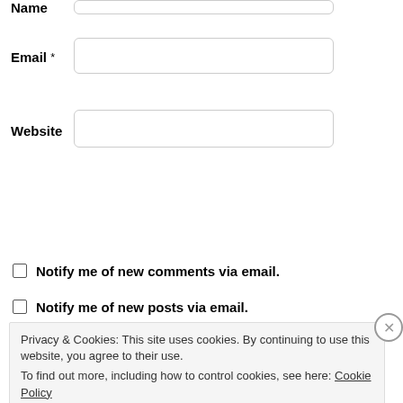Name
Email *
Website
Post Comment
Notify me of new comments via email.
Notify me of new posts via email.
Privacy & Cookies: This site uses cookies. By continuing to use this website, you agree to their use.
To find out more, including how to control cookies, see here: Cookie Policy
Close and accept